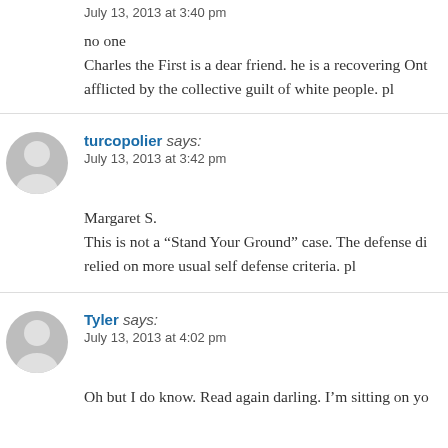July 13, 2013 at 3:40 pm
no one
Charles the First is a dear friend. he is a recovering Ont afflicted by the collective guilt of white people. pl
turcopolier says:
July 13, 2013 at 3:42 pm
Margaret S.
This is not a “Stand Your Ground” case. The defense di relied on more usual self defense criteria. pl
Tyler says:
July 13, 2013 at 4:02 pm
Oh but I do know. Read again darling. I’m sitting on yo